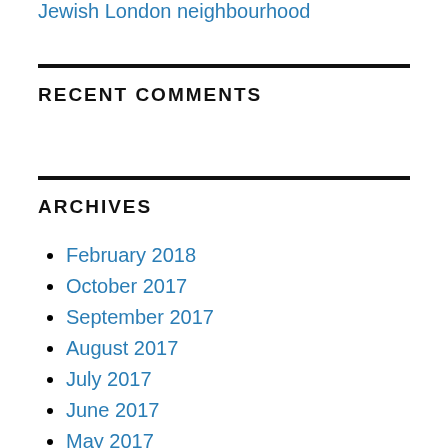Jewish London neighbourhood
RECENT COMMENTS
ARCHIVES
February 2018
October 2017
September 2017
August 2017
July 2017
June 2017
May 2017